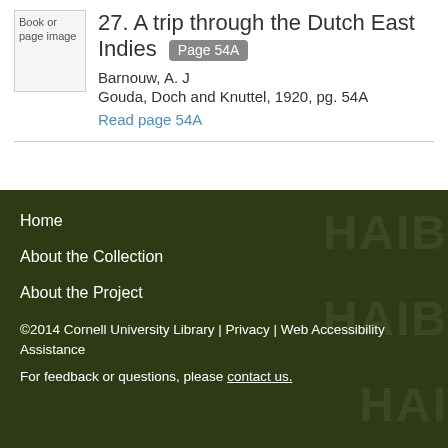[Figure (other): Book or page image thumbnail placeholder]
27. A trip through the Dutch East Indies  Page 54A
Barnouw, A. J
Gouda, Doch and Knuttel, 1920, pg. 54A
Read page 54A
Home
About the Collection
About the Project
©2014 Cornell University Library | Privacy | Web Accessibility Assistance
For feedback or questions, please contact us.